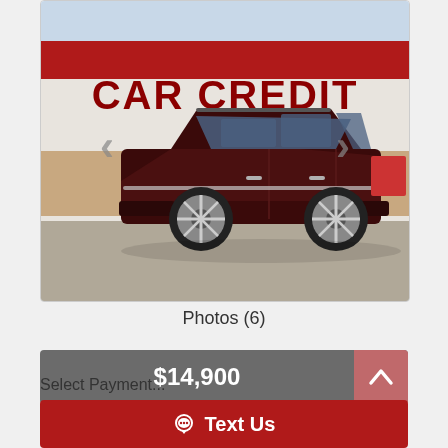[Figure (photo): Dark maroon/burgundy Ford Explorer SUV parked in front of a Car Credit dealership building with red roof and large red 'CAR CREDIT' lettering on white facade. Photo taken in a parking lot on a clear day.]
Photos (6)
$14,900
Text Us